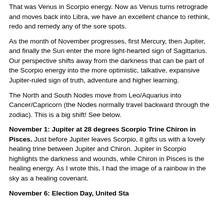That was Venus in Scorpio energy.  Now as Venus turns retrograde and moves back into Libra, we have an excellent chance to rethink, redo and remedy any of the sore spots.
As the month of November progresses, first Mercury, then Jupiter, and finally the Sun enter the more light-hearted sign of Sagittarius.  Our perspective shifts away from the darkness that can be part of the Scorpio energy into the more optimistic, talkative, expansive Jupiter-ruled sign of truth, adventure and higher learning.
The North and South Nodes move from Leo/Aquarius into Cancer/Capricorn (the Nodes normally travel backward through the zodiac).  This is a big shift!  See below.
November 1:  Jupiter at 28 degrees Scorpio Trine Chiron in Pisces.  Just before Jupiter leaves Scorpio, it gifts us with a lovely healing trine between Jupiter and Chiron.  Jupiter in Scorpio highlights the darkness and wounds, while Chiron in Pisces is the healing energy. As I wrote this, I had the image of a rainbow in the sky as a healing covenant.
November 6: Election Day, United States